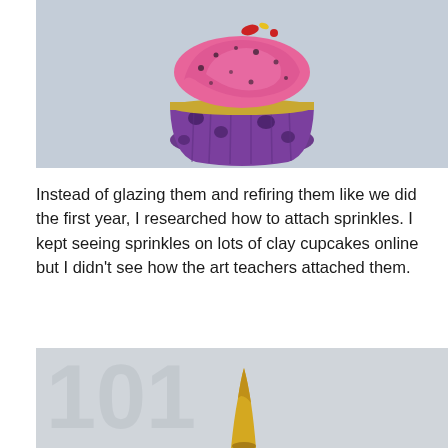[Figure (photo): A clay cupcake sculpture with purple base and pink swirled frosting on top, decorated with black speckles and small red and yellow candy-like decorations. Set against a light gray background.]
Instead of glazing them and refiring them like we did the first year, I researched how to attach sprinkles. I kept seeing sprinkles on lots of clay cupcakes online but I didn't see how the art teachers attached them.
[Figure (photo): Close-up partial view of a yellow clay piece or sculpture against a light gray background with faint embossed or watermark-style text visible.]